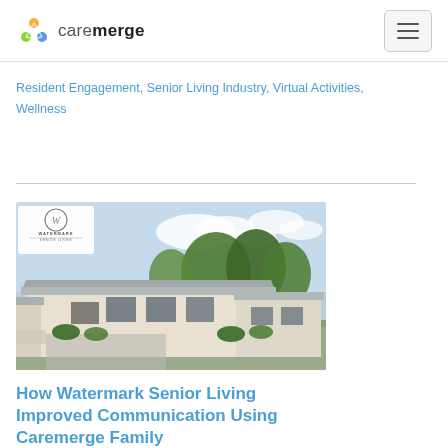caremerge
Resident Engagement, Senior Living Industry, Virtual Activities, Wellness
[Figure (photo): Exterior rendering of a single-story senior living facility building with white walls, covered entrance, trees in background, and a Watermark Senior Living logo badge in the upper left corner of the image.]
How Watermark Senior Living Improved Communication Using Caremerge Family